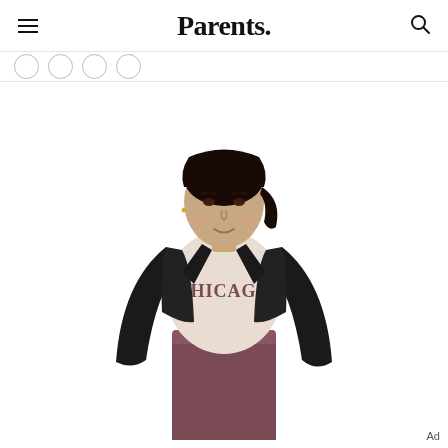Parents.
[Figure (photo): Woman posing with hands on hips wearing a black leather jacket over a beige Chicago t-shirt and dark mauve/burgundy jogger pants, with dark hair pulled back.]
Ad